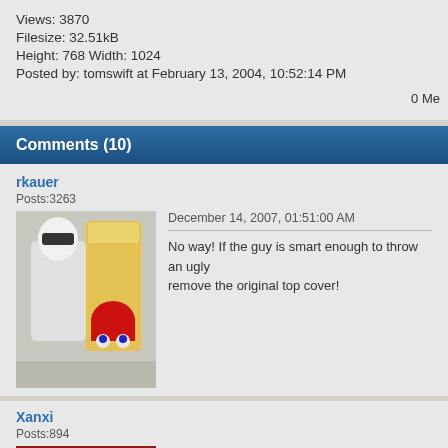Views: 3870
Filesize: 32.51kB
Height: 768 Width: 1024
Posted by: tomswift at February 13, 2004, 10:52:14 PM
0 Me
Comments (10)
rkauer
Posts:3263
December 14, 2007, 01:51:00 AM
No way! If the guy is smart enough to throw an ugly remove the original top cover!
Xanxi
Posts:894
April 21, 2007, 04:59:35 PM
Must be a real pain if you need to open the case to
Gwion
Posts:466